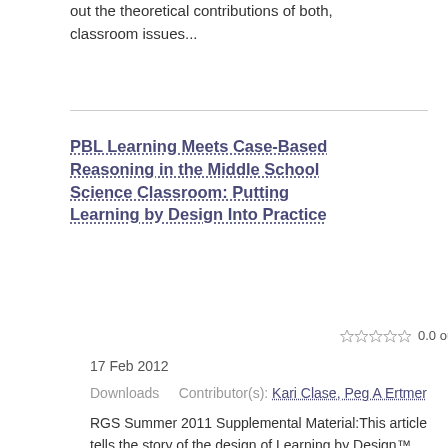out the theoretical contributions of both, classroom issues...
PBL Learning Meets Case-Based Reasoning in the Middle School Science Classroom: Putting Learning by Design Into Practice
0.0 out of 5 stars
17 Feb 2012
Downloads    Contributor(s): Kari Clase, Peg A Ertmer
RGS Summer 2011 Supplemental Material:This article tells the story of the design of Learning by Design™ (LBD), a project- based inquiry approach to science learning with roots in case-based reasoning and problem-based learning, pointing